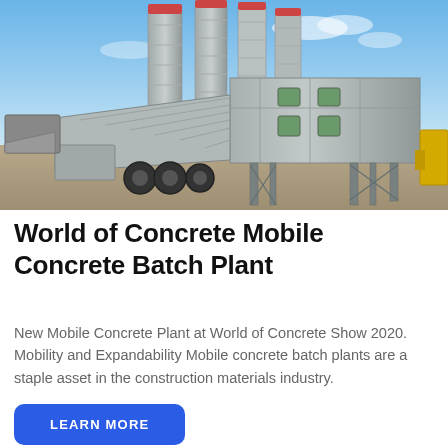[Figure (photo): Photograph of a mobile concrete batch plant at a construction site. The plant features large cylindrical silos with red tops, a main elevated mixing unit on metal legs with green-framed windows, a long inclined conveyor belt, a truck chassis underneath, and industrial equipment. The background shows a clear blue sky.]
World of Concrete Mobile Concrete Batch Plant
New Mobile Concrete Plant at World of Concrete Show 2020. Mobility and Expandability Mobile concrete batch plants are a staple asset in the construction materials industry.
LEARN MORE